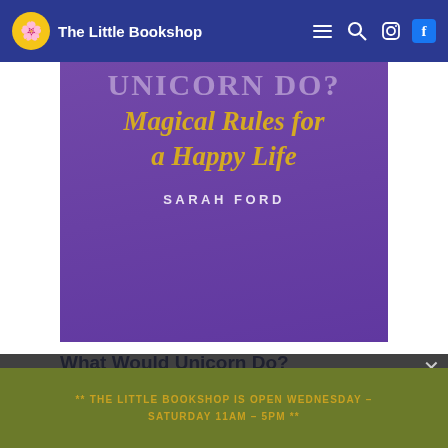The Little Bookshop
[Figure (photo): Book cover for 'What Would Unicorn Do? Magical Rules for a Happy Life' by Sarah Ford, purple background with gold italic title text]
What Would Unicorn Do?
€11,00
ADD TO BASKET
We use cookies - sadly not the choclolate chip variety - to make this website work properly. If you continue to use this website, you agree on the use of these cookies.
OK
** THE LITTLE BOOKSHOP IS OPEN WEDNESDAY – SATURDAY 11am – 5pm **